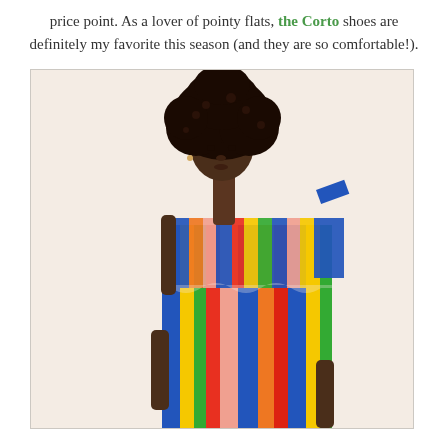price point. As a lover of pointy flats, the Corto shoes are definitely my favorite this season (and they are so comfortable!).
[Figure (photo): A woman with a large natural afro hairstyle wearing a multicolored vertical-striped one-shoulder midi dress with a ruffled flounce at the top. The background is a warm beige/cream color.]